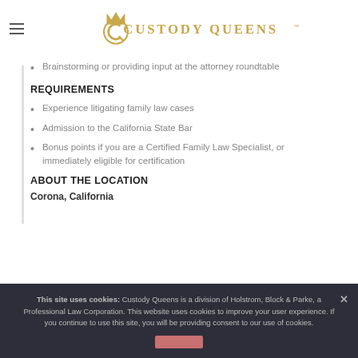Custody Queens
Brainstorming or providing input at the attorney roundtable
REQUIREMENTS
Experience litigating family law cases
Admission to the California State Bar
Bonus points if you are a Certified Family Law Specialist, or immediately eligible for certification
ABOUT THE LOCATION
Corona, California
This site uses cookies: Custody Queens is a division of Holstrom, Block & Parke, a Professional Law Corporation. This website uses cookies to improve your user experience. If you continue to use this site, you will be providing consent to our use of cookies.